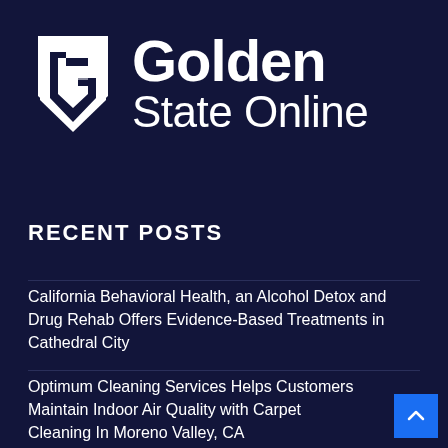[Figure (logo): Golden State Online logo with a stylized G shield icon on the left and the text 'Golden State Online' on the right, white on dark navy background]
RECENT POSTS
California Behavioral Health, an Alcohol Detox and Drug Rehab Offers Evidence-Based Treatments in Cathedral City
Optimum Cleaning Services Helps Customers Maintain Indoor Air Quality with Carpet Cleaning In Moreno Valley, CA